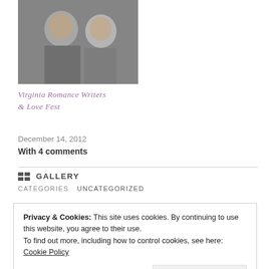[Figure (photo): Two women posing together, smiling at the camera, black and white/grayscale tones]
Virginia Romance Writers & Love Fest
December 14, 2012
With 4 comments
GALLERY
CATEGORIES  UNCATEGORIZED
Privacy & Cookies: This site uses cookies. By continuing to use this website, you agree to their use.
To find out more, including how to control cookies, see here: Cookie Policy
Close and accept